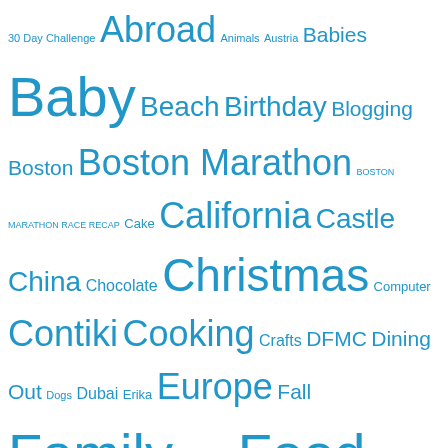[Figure (other): Tag cloud with blog topic words in varying sizes, all in blue. Larger words indicate more posts. Tags include: 30 Day Challenge, Abroad, Animals, Austria, Babies, Baby, Beach, Birthday, Blogging, Boston, Boston Marathon, BOSTON MARATHON RACE RECAP, Cake, California, Castle, China, Chocolate, Christmas, Computer, Contiki, Cooking, Crafts, DFMC, Dining Out, Dogs, Dubai, Erika, Europe, Fall, Family, Flowers, Food, Friends, Galaxy, Germany, Giveaway, Golf, Halloween, Happy, Hawaii, Hiking, Hollywood, Hollywood Bowl, Home, Ice Cream, Irving, Las Vegas, Los Angeles, Love, marathon, Marathons, Movies, Netherlands, New Hampshire, Nike, Olympics, Palm Springs, Park, Photography, Races, Ragnar, Random, Review, Running, San Francisco, Shopping, Sisters, Soccer, Swimming, Training, Travel, Valentine's Day, Wedding, Wedding Recap, Workout.]